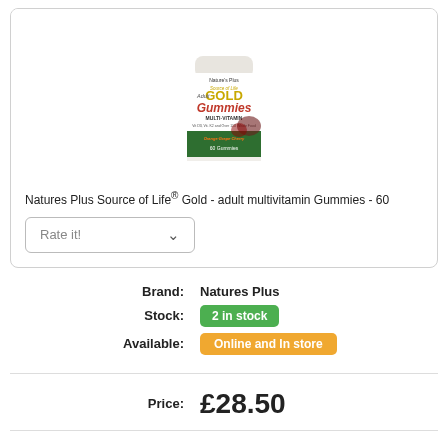[Figure (photo): Product photo of Natures Plus Source of Life Gold Adult Multivitamin Gummies bottle, showing orange/grape/cherry flavors, 60 gummies]
Natures Plus Source of Life® Gold - adult multivitamin Gummies - 60
Rate it!
| Label | Value |
| --- | --- |
| Brand: | Natures Plus |
| Stock: | 2 in stock |
| Available: | Online and In store |
Price: £28.50